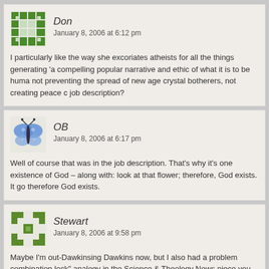Don
January 8, 2006 at 6:12 pm
I particularly like the way she excoriates atheists for all the things generating 'a compelling popular narrative and ethic of what it is to be human' not preventing the spread of new age crystal botherers, not creating peace c job description?
OB
January 8, 2006 at 6:17 pm
Well of course that was in the job description. That's why it's one existence of God – along with: look at that flower; therefore, God exists. It go therefore God exists.
Stewart
January 8, 2006 at 9:58 pm
Maybe I'm out-Dawkinsing Dawkins now, but I also had a problem combination lock" analogy in the Science & Theology News piece you linke